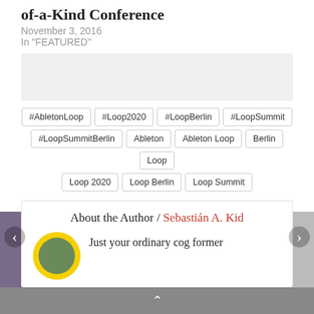of-a-Kind Conference
November 3, 2016
In "FEATURED"
[Figure (other): Gray advertisement/placeholder box]
#AbletonLoop
#Loop2020
#LoopBerlin
#LoopSummit
#LoopSummitBerlin
Ableton
Ableton Loop
Berlin
Loop
Loop 2020
Loop Berlin
Loop Summit
Last modified: October 23, 2019
About the Author / Sebastián A. Kid
Just your ordinary cog former